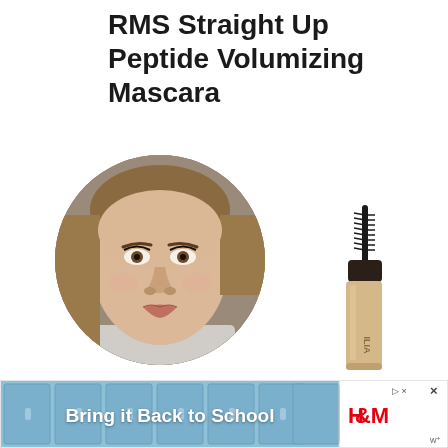RMS Straight Up Peptide Volumizing Mascara
[Figure (photo): Circular cropped photo of a woman's face showing natural makeup with mascara on lashes, brown eyes, light skin tone, blonde hair]
[Figure (photo): Product photo of ILIA mascara tube with wand applicator, beige/nude colored packaging]
[Figure (infographic): Advertisement banner for H&M 'Bring it Back to School' campaign showing blue school lockers background with H&M red logo and close button]